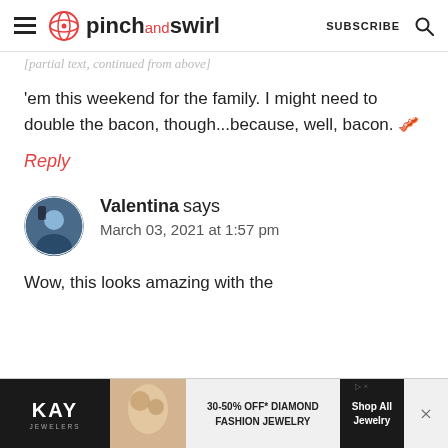pinch and swirl | SUBSCRIBE
'em this weekend for the family. I might need to double the bacon, though...because, well, bacon. 🥓
Reply
Valentina says
March 03, 2021 at 1:57 pm
Wow, this looks amazing with the
[Figure (screenshot): KAY Jewelers advertisement banner: 30-50% OFF Diamond Fashion Jewelry, Shop All Jewelry button, with close button]